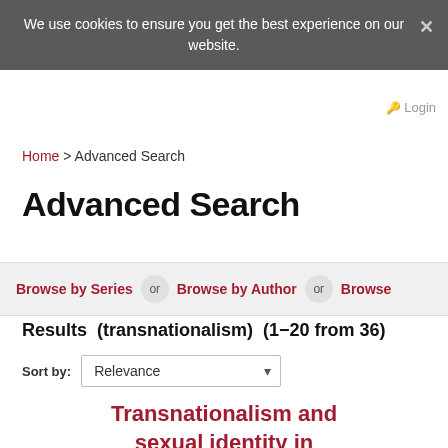We use cookies to ensure you get the best experience on our website.
Login
Home > Advanced Search
Advanced Search
Browse by Series or Browse by Author or Browse ...
Results (transnationalism) (1−20 from 36)
Sort by: Relevance
Transnationalism and sexual identity in